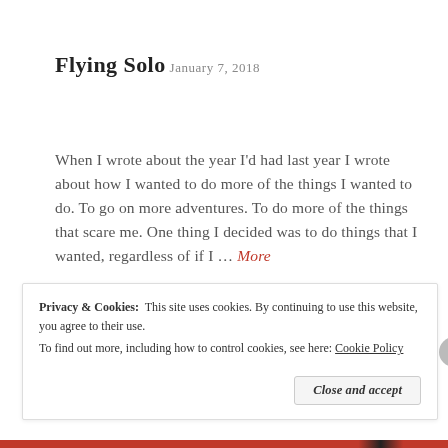Flying Solo
January 7, 2018
When I wrote about the year I'd had last year I wrote about how I wanted to do more of the things I wanted to do. To go on more adventures. To do more of the things that scare me. One thing I decided was to do things that I wanted, regardless of if I … More
[Figure (other): Comment and link icon bar with light gray rounded rectangle background]
Privacy & Cookies: This site uses cookies. By continuing to use this website, you agree to their use.
To find out more, including how to control cookies, see here: Cookie Policy
Close and accept